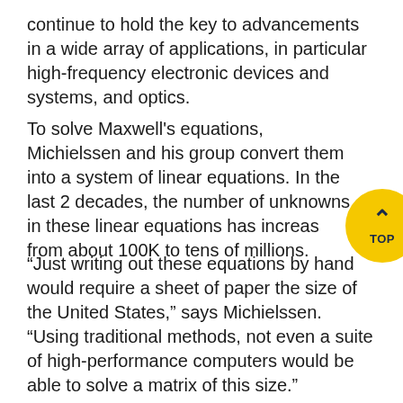continue to hold the key to advancements in a wide array of applications, in particular high-frequency electronic devices and systems, and optics.
To solve Maxwell's equations, Michielssen and his group convert them into a system of linear equations. In the last 2 decades, the number of unknowns in these linear equations has increased from about 100K to tens of millions.
“Just writing out these equations by hand would require a sheet of paper the size of the United States,” says Michielssen. “Using traditional methods, not even a suite of high-performance computers would be able to solve a matrix of this size.”